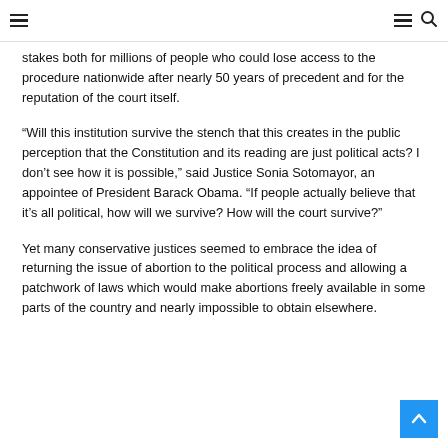Navigation header with hamburger menu and search icons
stakes both for millions of people who could lose access to the procedure nationwide after nearly 50 years of precedent and for the reputation of the court itself.
“Will this institution survive the stench that this creates in the public perception that the Constitution and its reading are just political acts? I don’t see how it is possible,” said Justice Sonia Sotomayor, an appointee of President Barack Obama. “If people actually believe that it’s all political, how will we survive? How will the court survive?”
Yet many conservative justices seemed to embrace the idea of returning the issue of abortion to the political process and allowing a patchwork of laws which would make abortions freely available in some parts of the country and nearly impossible to obtain elsewhere.